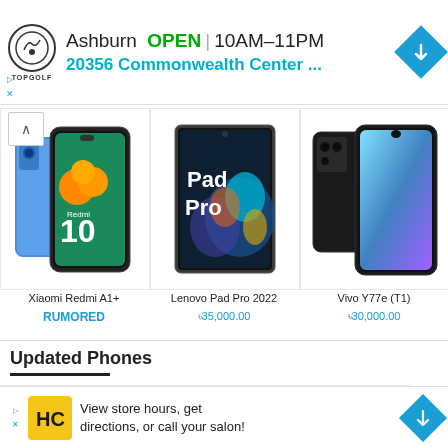[Figure (screenshot): Topgolf advertisement banner showing location in Ashburn, OPEN 10AM-11PM, address 20356 Commonwealth Center...]
[Figure (photo): Xiaomi Redmi A1+ smartphone product image]
Xiaomi Redmi A1+
RUMORED
[Figure (photo): Lenovo Pad Pro 2022 tablet product image]
Lenovo Pad Pro 2022
৳35,000.00
[Figure (photo): Vivo Y77e (T1) smartphone product image]
Vivo Y77e (T1)
৳30,000.00
Updated Phones
[Figure (photo): Tablet product thumbnail - gray]
[Figure (photo): Samsung phone product thumbnail - green]
[Figure (photo): Folding phone product thumbnail]
[Figure (screenshot): HC salon advertisement: View store hours, get directions, or call your salon!]